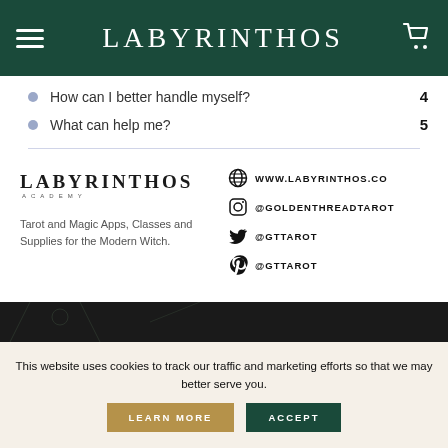LABYRINTHOS
How can I better handle myself? 4
What can help me? 5
[Figure (logo): Labyrinthos Academy logo with decorative serif lettering]
Tarot and Magic Apps, Classes and Supplies for the Modern Witch.
WWW.LABYRINTHOS.CO @GOLDENTHREADTAROT @GTTAROT @GTTAROT
This website uses cookies to track our traffic and marketing efforts so that we may better serve you.